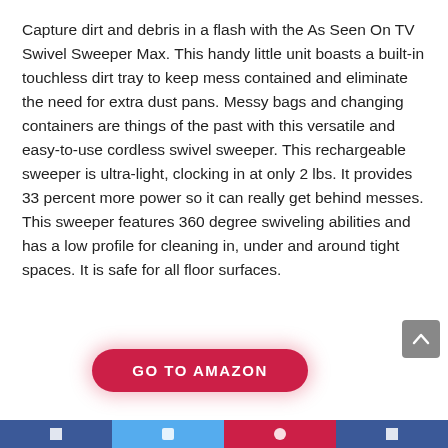Capture dirt and debris in a flash with the As Seen On TV Swivel Sweeper Max. This handy little unit boasts a built-in touchless dirt tray to keep mess contained and eliminate the need for extra dust pans. Messy bags and changing containers are things of the past with this versatile and easy-to-use cordless swivel sweeper. This rechargeable sweeper is ultra-light, clocking in at only 2 lbs. It provides 33 percent more power so it can really get behind messes. This sweeper features 360 degree swiveling abilities and has a low profile for cleaning in, under and around tight spaces. It is safe for all floor surfaces.
[Figure (other): GO TO AMAZON button - red pill-shaped button with white bold uppercase text]
Social media footer bar with Facebook, Twitter, Pinterest, and other icons